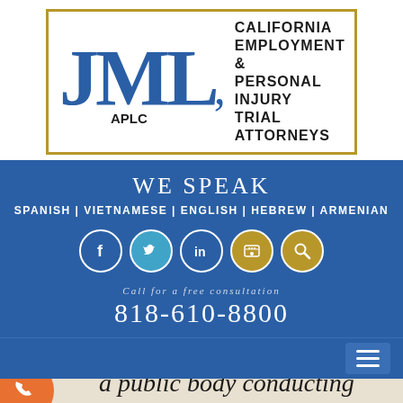[Figure (logo): JML APLC law firm logo with blue serif letters JML and text: CALIFORNIA EMPLOYMENT & PERSONAL INJURY TRIAL ATTORNEYS, bordered in gold]
WE SPEAK
SPANISH | VIETNAMESE | ENGLISH | HEBREW | ARMENIAN
[Figure (other): Row of social media icons: Facebook, Twitter, LinkedIn, YouTube/camera, Search]
Call for a free consultation
818-610-8800
[Figure (other): Hamburger menu icon on blue navigation bar]
a public body conducting an investigation, hearing or inquiry, when they have reason to believe their employer is